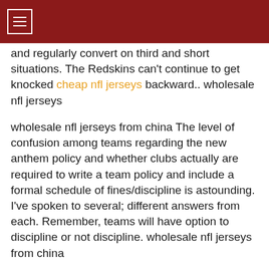≡
and regularly convert on third and short situations. The Redskins can't continue to get knocked cheap nfl jerseys backward.. wholesale nfl jerseys
wholesale nfl jerseys from china The level of confusion among teams regarding the new anthem policy and whether clubs actually are required to write a team policy and include a formal schedule of fines/discipline is astounding. I've spoken to several; different answers from each. Remember, teams will have option to discipline or not discipline. wholesale nfl jerseys from china
wholesale jerseys from china One reason why many might not realize this is because Lewan allowed the third most sacks among tackles last season, with eight. But that's where sack numbers can be deceiving. Lewan actually allowed the seventh fewest total pressures, with 23, and he ranked an impressive 15thin pass blocking grades among all NFL tackles.. wholesale jerseys from china